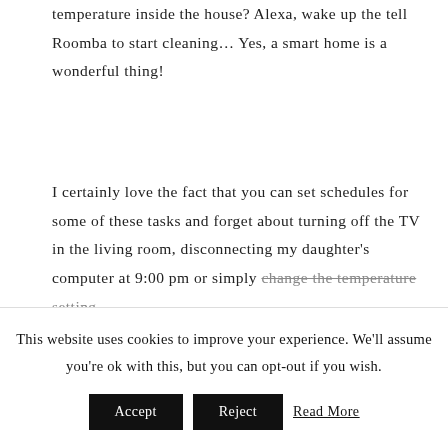on the TV in the kid's room. Alexa, what is the temperature inside the house? Alexa, wake up the tell Roomba to start cleaning... Yes, a smart home is a wonderful thing!
I certainly love the fact that you can set schedules for some of these tasks and forget about turning off the TV in the living room, disconnecting my daughter's computer at 9:00 pm or simply change the temperature setting
This website uses cookies to improve your experience. We'll assume you're ok with this, but you can opt-out if you wish.
Accept | Reject | Read More